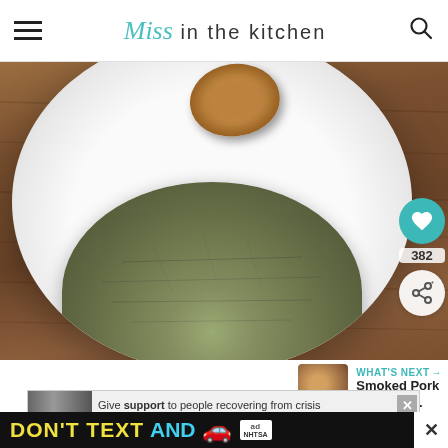Miss in the kitchen
[Figure (photo): A white bowl containing a pile of dried green herbs/spices (such as Italian seasoning or herbes de Provence), with a wooden spoon resting above the bowl, all placed on a wooden surface. Social sharing buttons (heart/like with count 382, and share button) visible on right side.]
WHAT'S NEXT → Smoked Pork Butt with...
Give support to people recovering from crisis
DON'T TEXT AND